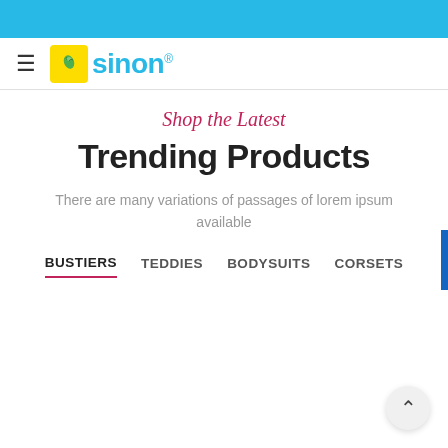[Figure (logo): Sinon brand logo with yellow-green leaf icon and cyan 'sinon' wordmark with registered trademark symbol]
Shop the Latest
Trending Products
There are many variations of passages of lorem ipsum available
BUSTIERS
TEDDIES
BODYSUITS
CORSETS